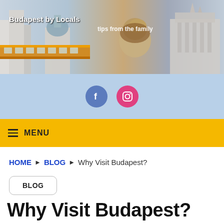[Figure (photo): Budapest city banner showing skyline with buildings, tramway, lion statue, and Parliament building. Text 'Budapest by Locals' and 'tips from the family' overlaid.]
[Figure (infographic): Social media icons: Facebook (blue circle with f) and Instagram (pink circle with camera icon) on a light blue background.]
≡ MENU
HOME ▶ BLOG ▶ Why Visit Budapest?
BLOG
Why Visit Budapest?